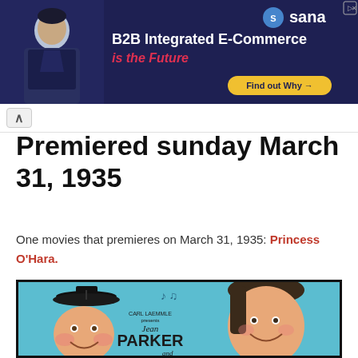[Figure (photo): Advertisement banner for Sana B2B Integrated E-Commerce with a man in dark clothing on left, white text 'B2B Integrated E-Commerce' and red italic 'is the Future', Sana logo top right, yellow 'Find out Why' button bottom right]
Premiered sunday March 31, 1935
One movies that premieres on March 31, 1935: Princess O'Hara.
[Figure (photo): Movie poster for Princess O'Hara (1935) showing two illustrated men — one with a top hat and round face on the left, one with slicked hair on the right — on a teal/blue background with musical notes, text reads CARL LAEMMLE presents Jean PARKER and Chester MORRIS]